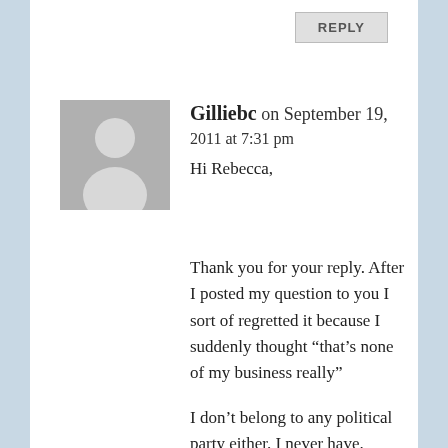[Figure (other): Reply button at top right]
[Figure (illustration): Grey avatar placeholder with silhouette of a person]
Gilliebc on September 19, 2011 at 7:31 pm
Hi Rebecca,
Thank you for your reply.  After I posted my question to you I sort of regretted it because I suddenly thought “that's none of my business really”
I don’t belong to any political party either.  I never have.  Though I’ve never actually